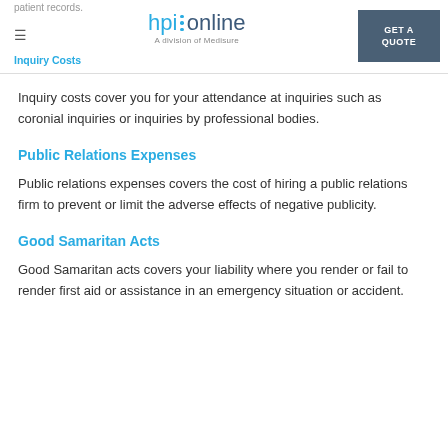patient records. hpi online A division of Medisure GET A QUOTE Inquiry Costs
Inquiry costs cover you for your attendance at inquiries such as coronial inquiries or inquiries by professional bodies.
Public Relations Expenses
Public relations expenses covers the cost of hiring a public relations firm to prevent or limit the adverse effects of negative publicity.
Good Samaritan Acts
Good Samaritan acts covers your liability where you render or fail to render first aid or assistance in an emergency situation or accident.